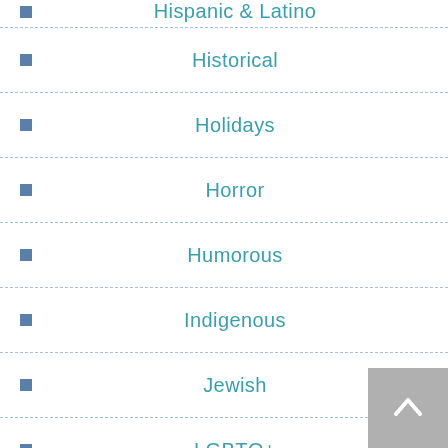Hispanic & Latino
Historical
Holidays
Horror
Humorous
Indigenous
Jewish
LGBTQ+
Legal